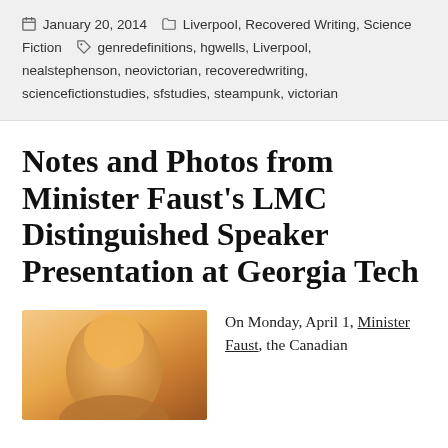January 20, 2014   Liverpool, Recovered Writing, Science Fiction   genredefinitions, hgwells, Liverpool, nealstephenson, neovictorian, recoveredwriting, sciencefictionstudies, sfstudies, steampunk, victorian
Notes and Photos from Minister Faust's LMC Distinguished Speaker Presentation at Georgia Tech
[Figure (photo): Partial photo of a person, warm orange/amber tones, cropped showing upper portion]
On Monday, April 1, Minister Faust, the Canadian